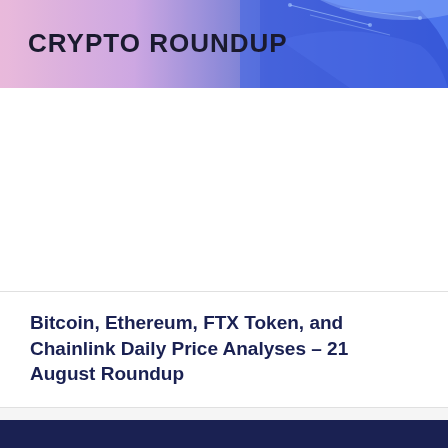[Figure (illustration): Crypto Roundup banner with colorful abstract background featuring pink, purple and blue tones with text reading 'CRYPTO ROUNDUP']
Bitcoin, Ethereum, FTX Token, and Chainlink Daily Price Analyses – 21 August Roundup